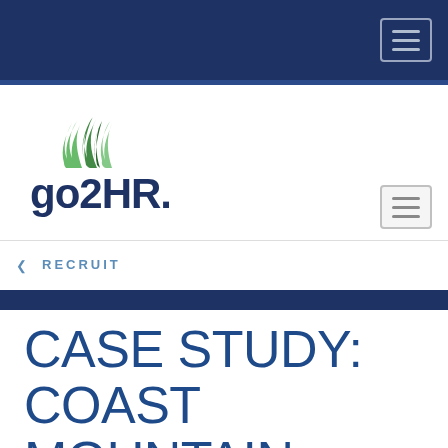[Figure (logo): go2HR logo with green flame/wave graphic and dark blue text 'go2HR.' with registered trademark symbol]
RECRUIT
CASE STUDY: COAST MOUNTAIN